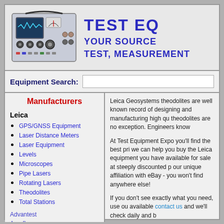[Figure (photo): Photo of a vintage electronic test equipment device with knobs, meters, and oscilloscope screen]
TEST EQ
YOUR SOURCE
TEST, MEASUREMENT
Equipment Search:
Manufacturers
Leica
GPS/GNSS Equipment
Laser Distance Meters
Laser Equipment
Levels
Microscopes
Pipe Lasers
Rotating Lasers
Theodolites
Total Stations
Advantest
Aeroflex
Agilent/Keysight/HP
Anritsu
Atten
B&K Precision
Leica Geosystems theodolites are well known record of designing and manufacturing high qu theodolites are no exception. Engineers know
At Test Equipment Expo you'll find the best pri we can help you buy the Leica equipment you have available for sale at steeply discounted p our unique affiliation with eBay - you won't find anywhere else!
If you don't see exactly what you need, use ou available contact us and we'll check daily and b
LEICA GPR1 GDF322 Pro Tribrac GPR121 Transit/Theodolite Prism Reflector/Holder